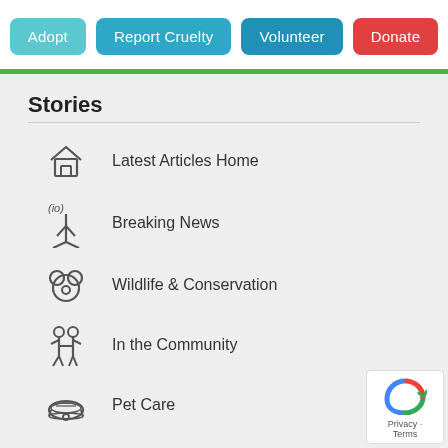Adopt | Report Cruelty | Volunteer | Donate
Stories
Latest Articles Home
Breaking News
Wildlife & Conservation
In the Community
Pet Care
Happy Tails